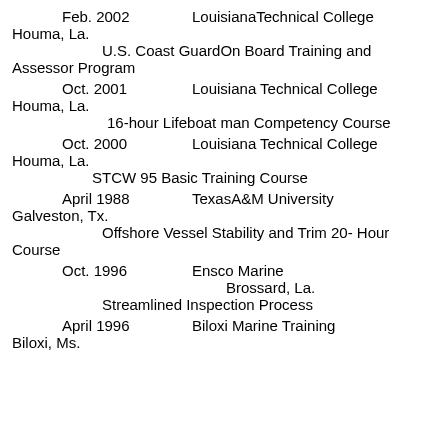Feb. 2002    LouisianaTechnical College Houma, La.
    U.S. Coast GuardOn Board Training and Assessor Program
Oct. 2001    Louisiana Technical College Houma, La.
    16-hour Lifeboat man Competency Course
Oct. 2000    Louisiana Technical College Houma, La.
    STCW 95 Basic Training Course
April 1988    TexasA&M University Galveston, Tx.
    Offshore Vessel Stability and Trim 20- Hour Course
Oct. 1996    Ensco Marine Brossard, La.
    Streamlined Inspection Process
April 1996    Biloxi Marine Training Biloxi, Ms.